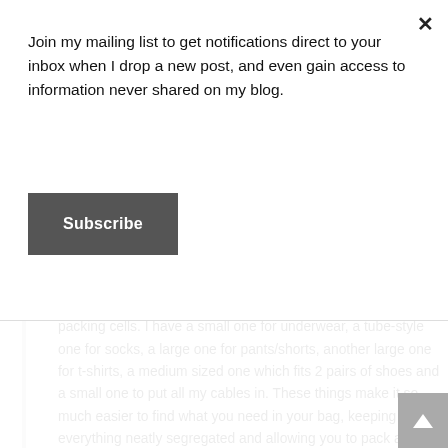Join my mailing list to get notifications direct to your inbox when I drop a new post, and even gain access to information never shared on my blog.
Subscribe
ever traveling and can get to one, get yourself a bunch of packing cells. I have a small one for underwear, a tube-style one for socks, a large one for pants/shorts, another large one for t-shirts, a medium sized one which fits 2 pairs of shoes and a small one to put all my cables in. These things make it so much easier to find what you need in your bag, keeping everything neatly segregated and allowing you to pack and unpack faster.
[Figure (photo): Photo of packing cells/luggage organizers with bags and items visible on a surface]